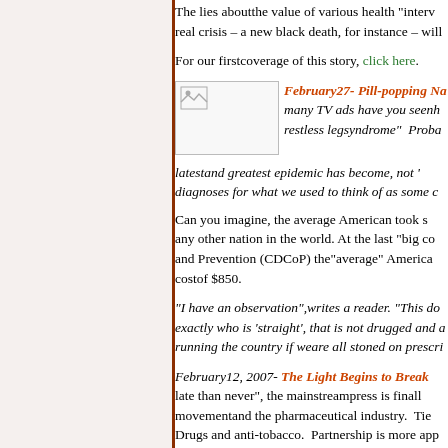The lies aboutthe value of various health "interv... real crisis – a new black death, for instance – will
For our firstcoverage of this story, click here.
[Figure (photo): Small image placeholder with broken image icon]
February27- Pill-popping Na... many TV ads have you seenhi restless legsyndrome"  Proba... latestand greatest epidemic has become, not '... diagnoses for what we used to think of as some c
Can you imagine, the average American took s... any other nation in the world. At the last "big co... and Prevention (CDCoP) the"average" America... costof $850.
"I have an observation",writes a reader. "This do... exactly who is 'straight', that is not drugged and a... running the country if weare all stoned on prescri...
February12, 2007- The Light Begins to Break... late than never", the mainstreampress is finall... movementand the pharmaceutical industry.  Tie... Drugs and anti-tobacco.  Partnership is more app... spokesmen are being paid by themanufacturers ... to toutthe usage of the products that purportedly... been aware of the tight links between the anti-... very long time, takes us throughthe webs that c... forpublic health.
[Figure (photo): Small image placeholder with broken image icon at bottom]
February9, 2007- Quacko...